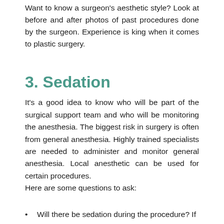Want to know a surgeon's aesthetic style? Look at before and after photos of past procedures done by the surgeon. Experience is king when it comes to plastic surgery.
3.  Sedation
It's a good idea to know who will be part of the surgical support team and who will be monitoring the anesthesia. The biggest risk in surgery is often from general anesthesia. Highly trained specialists are needed to administer and monitor general anesthesia. Local anesthetic can be used for certain procedures.
Here are some questions to ask:
Will there be sedation during the procedure? If